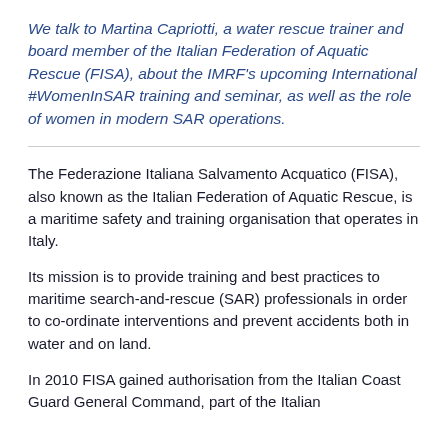We talk to Martina Capriotti, a water rescue trainer and board member of the Italian Federation of Aquatic Rescue (FISA), about the IMRF's upcoming International #WomenInSAR training and seminar, as well as the role of women in modern SAR operations.
The Federazione Italiana Salvamento Acquatico (FISA), also known as the Italian Federation of Aquatic Rescue, is a maritime safety and training organisation that operates in Italy.
Its mission is to provide training and best practices to maritime search-and-rescue (SAR) professionals in order to co-ordinate interventions and prevent accidents both in water and on land.
In 2010 FISA gained authorisation from the Italian Coast Guard General Command, part of the Italian